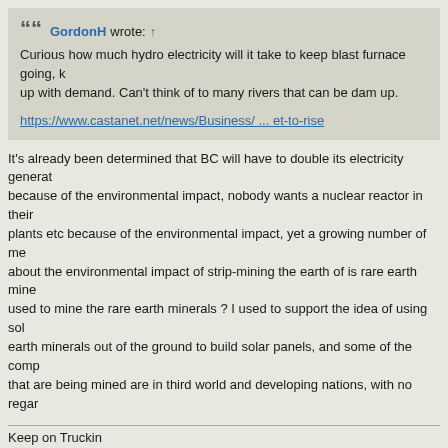GordonH wrote: ↑
Curious how much hydro electricity will it take to keep blast furnace going, keep up with demand. Can't think of to many rivers that can be dam up.

https://www.castanet.net/news/Business/ ... et-to-rise
It's already been determined that BC will have to double its electricity genera... because of the environmental impact, nobody wants a nuclear reactor in their... plants etc because of the environmental impact, yet a growing number of men... about the environmental impact of strip-mining the earth of is rare earth miner... used to mine the rare earth minerals ? I used to support the idea of using sola... earth minerals out of the ground to build solar panels, and some of the compo... that are being mined are in third world and developing nations, with no regard...
Keep on Truckin
Jlabute
Guru
Re: Going Green
Nov 21st, 2021, 8:51 am
I noticed this too. If not hydro, then nuclear. Sure the heck wont't be done with... making terminology I am not too familiar with. A blast furnace is used to smelt...